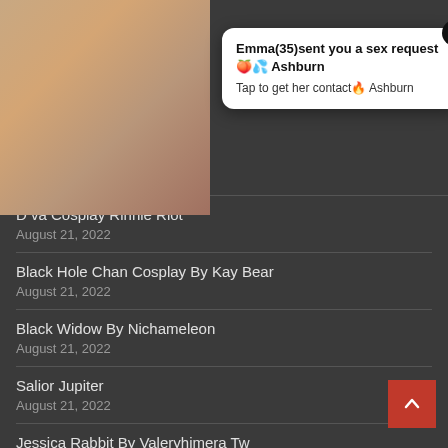August 21, 2022
D va Cosplay Rinnie Riot
August 21, 2022
Black Hole Chan Cosplay By Kay Bear
August 21, 2022
Black Widow By Nichameleon
August 21, 2022
Salior Jupiter
August 21, 2022
Jessica Rabbit By Valeryhimera Tw
August 21, 2022
Anyone Knows Who She Is
[Figure (photo): Thumbnail photo of a woman]
Emma(35)sent you a sex request🍑💦 Ashburn
Tap to get her contact🔥 Ashburn